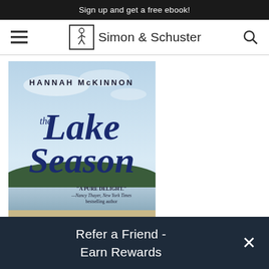Sign up and get a free ebook!
[Figure (logo): Simon & Schuster navigation bar with hamburger menu, logo (figure in box), company name, and search icon]
[Figure (photo): Book cover of 'The Lake Season' by Hannah McKinnon, with cursive title, sky and lake background, and quote: 'A pure delight.' —Nancy Thayer, New York Times bestselling author]
Refer a Friend - Earn Rewards